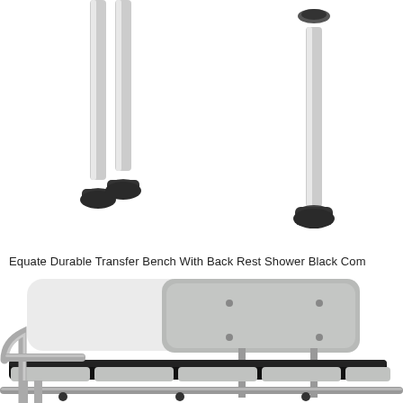[Figure (photo): Close-up photo of adjustable metal legs with black rubber suction cup feet from a transfer bench or shower chair, shown from below against a white background.]
Equate Durable Transfer Bench With Back Rest Shower Black Com
[Figure (photo): Photo of an Equate Durable Transfer Bench with back rest, showing a gray padded backrest panel with mounting screws, gray seat cushion panels, and a chrome/silver metal frame with armrails, viewed from a front-angle perspective.]